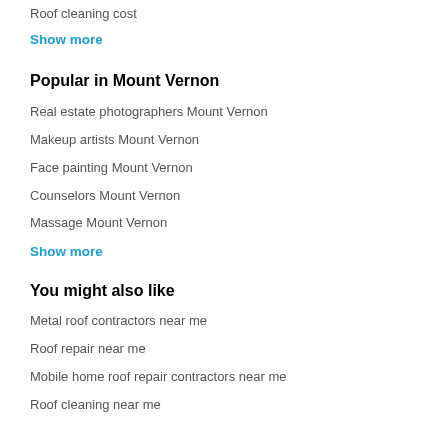Roof cleaning cost
Show more
Popular in Mount Vernon
Real estate photographers Mount Vernon
Makeup artists Mount Vernon
Face painting Mount Vernon
Counselors Mount Vernon
Massage Mount Vernon
Show more
You might also like
Metal roof contractors near me
Roof repair near me
Mobile home roof repair contractors near me
Roof cleaning near me